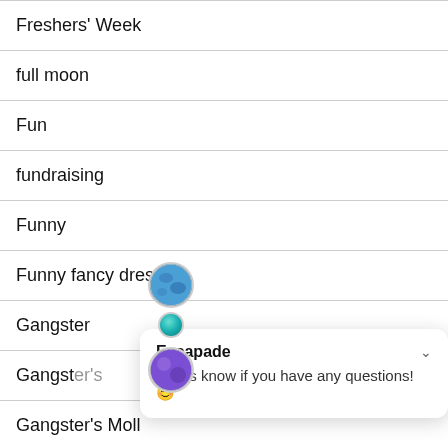Freshers' Week
full moon
Fun
fundraising
Funny
Funny fancy dress
Gangster
Gangster's (partially obscured)
Gangster's Moll
Escapade
Let us know if you have any questions! 😊